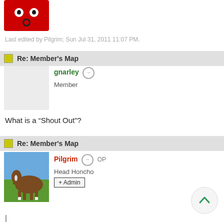[Figure (illustration): Red cartoon character avatar icon at top]
Last edited by Pilgrim; Sun Jul 31, 2011 11:07 PM.
Re: Member's Map
[Figure (illustration): gnarley user avatar - grey placeholder]
gnarley Member
What is a "Shout Out"?
Re: Member's Map
[Figure (photo): Pilgrim user avatar - horse photo]
Pilgrim OP Head Honcho + Admin